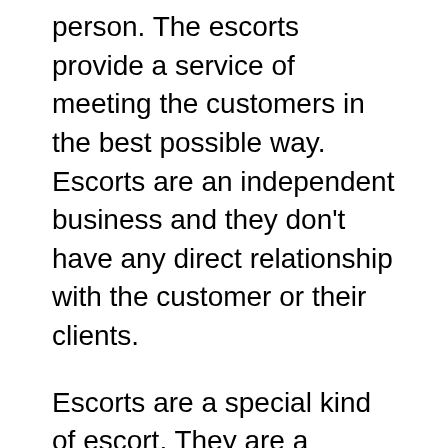person. The escorts provide a service of meeting the customers in the best possible way. Escorts are an independent business and they don't have any direct relationship with the customer or their clients.
Escorts are a special kind of escort. They are a service that is provided to the client, but they do not provide sexual services. The use of escorts in India is increasing day by day and it is said that there are more than 500 escorts in Sarojini Nagar alone. The industry has been growing at a fast pace and many people have turned to escorting as their profession. Escorting has become so popular because it provides the client with an experience which he would not get from any other